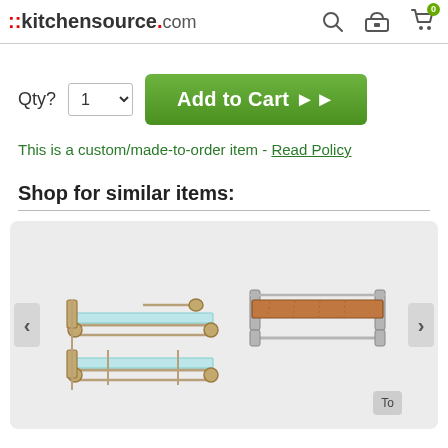::kitchensource.com
Qty?
Add to Cart ▶▶
This is a custom/made-to-order item - Read Policy
Shop for similar items:
[Figure (photo): Two bathroom shelving products: a double glass shelf with towel bar in brushed bronze finish, and a wood shelf with towel bar in brushed nickel finish.]